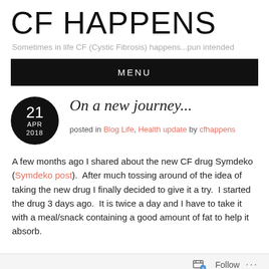CF HAPPENS
Sometimes in life CF (Cystic Fibrosis) happens...pun intended
MENU
On a new journey...
posted in Blog Life, Health update by cfhappens
A few months ago I shared about the new CF drug Symdeko (Symdeko post).  After much tossing around of the idea of taking the new drug I finally decided to give it a try.  I started the drug 3 days ago.  It is twice a day and I have to take it with a meal/snack containing a good amount of fat to help it absorb.